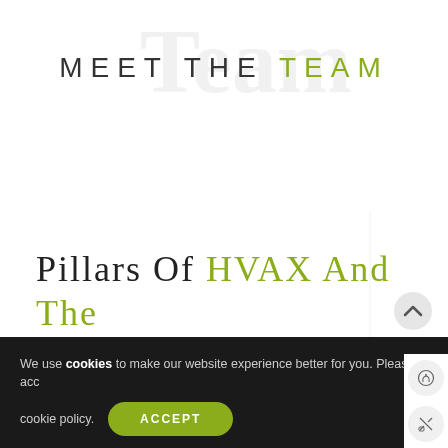MEET THE TEAM
Pillars Of HVAX And The Architects Of Every Project We Build.
As a team we have built some of the finest pharmaceutical plants in Asia and Africa. Our Strength here has been our committed team and our trusted partners. This has resulted in a positive word of mouth and formed a strong client base in multiple
We use cookies to make our website experience better for you. Please acc cookie policy. ACCEPT